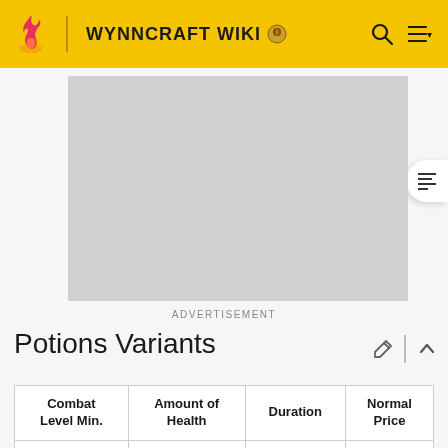WYNNCRAFT WIKI
[Figure (other): Advertisement placeholder (gray rectangle)]
ADVERTISEMENT
Potions Variants
| Combat Level Min. | Amount of Health | Duration | Normal Price |
| --- | --- | --- | --- |
| 1 | 10 Health | 3 | 2 [icon] |